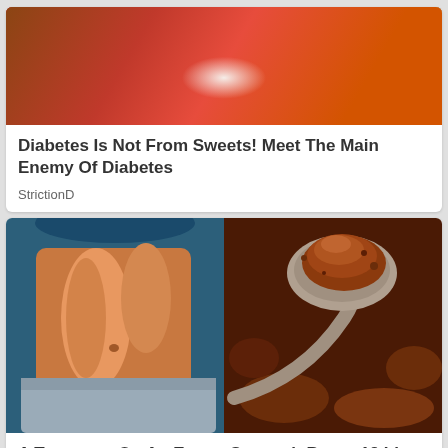[Figure (photo): Close-up photo of teeth and red lips smiling]
Diabetes Is Not From Sweets! Meet The Main Enemy Of Diabetes
StrictionD
[Figure (photo): Split image: left side shows a slim person's midsection, right side shows a spoon with brown powder (cinnamon or similar spice)]
A Teaspoon On An Empty Stomach Burns 12 Lbs Of Fat A Week Safely!
Keto Diet